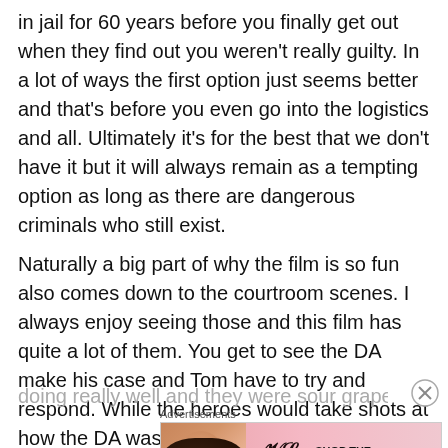in jail for 60 years before you finally get out when they find out you weren't really guilty. In a lot of ways the first option just seems better and that's before you even go into the logistics and all. Ultimately it's for the best that we don't have it but it will always remain as a tempting option as long as there are dangerous criminals who still exist.
Naturally a big part of why the film is so fun also comes down to the courtroom scenes. I always enjoy seeing those and this film has quite a lot of them. You get to see the DA make his case and Tom have to try and respond. While the heroes would take shots at how the DA was trying to win over the jury, I would say that he was just doing really well and they were sour grapes because they
Advertisements
[Figure (infographic): Victoria's Secret advertisement banner with model, VS logo, 'SHOP THE COLLECTION' text and 'SHOP NOW' button]